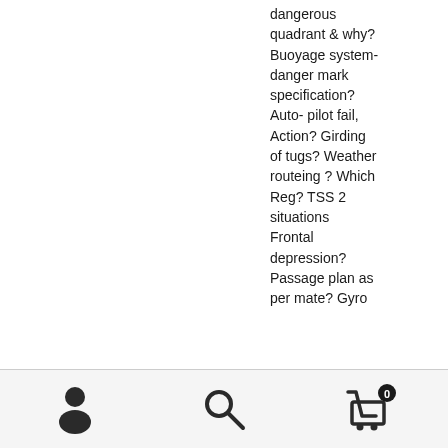dangerous quadrant & why? Buoyage system- danger mark specification? Auto- pilot fail, Action? Girding of tugs? Weather routeing ? Which Reg? TSS 2 situations Frontal depression? Passage plan as per mate? Gyro
[Figure (other): Website footer navigation bar with user/account icon (person silhouette), search icon (magnifying glass), and shopping cart icon with badge showing '0']